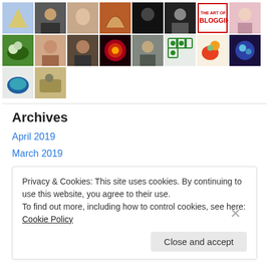[Figure (illustration): A grid of profile/avatar thumbnail images arranged in 3 rows. Row 1 has 8 thumbnails, row 2 has 8 thumbnails, row 3 has 2 thumbnails. Various people photos, book covers, illustrations, and icons.]
Archives
April 2019
March 2019
January 2019
Privacy & Cookies: This site uses cookies. By continuing to use this website, you agree to their use.
To find out more, including how to control cookies, see here: Cookie Policy
Close and accept